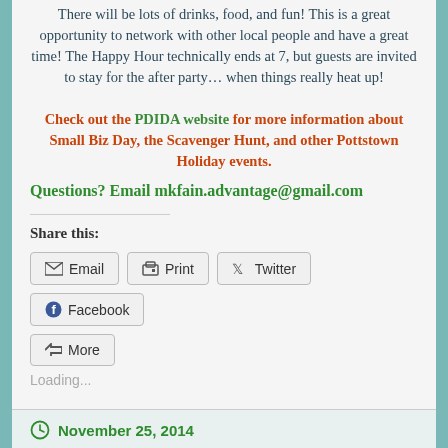There will be lots of drinks, food, and fun! This is a great opportunity to network with other local people and have a great time! The Happy Hour technically ends at 7, but guests are invited to stay for the after party… when things really heat up! Check out the PDIDA website for more information about Small Biz Day, the Scavenger Hunt, and other Pottstown Holiday events.
Questions? Email mkfain.advantage@gmail.com
Share this:
Loading...
November 25, 2014